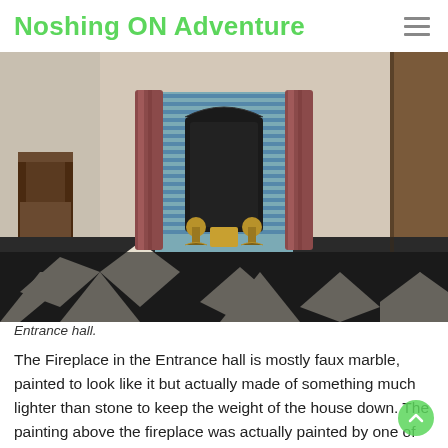Noshing ON Adventure
[Figure (photo): Entrance hall fireplace with faux marble columns, ornate black cast iron fireback with brass andirons, blue and white Delft tiles, and a black and white diamond-patterned stone floor. An antique wooden chair is visible to the left.]
Entrance hall.
The Fireplace in the Entrance hall is mostly faux marble, painted to look like it but actually made of something much lighter than stone to keep the weight of the house down. The painting above the fireplace was actually painted by one of Rembrandt's students.  In the house there was also a room full of props and artifacts collected by Rembrandt and